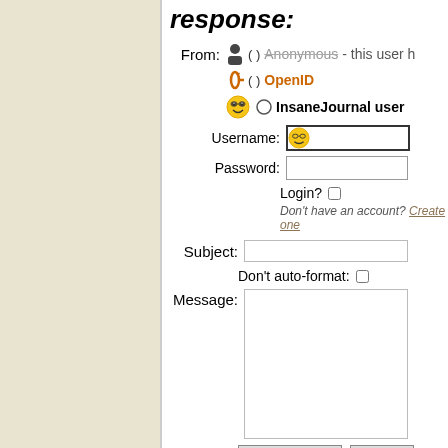response:
From: ( ) Anonymous- this user h
( ) OpenID
( ) InsaneJournal user
Username:
Password:
Login?
Don't have an account? Create one
Subject:
Don't auto-format:
Message:
Post Comment   Preview